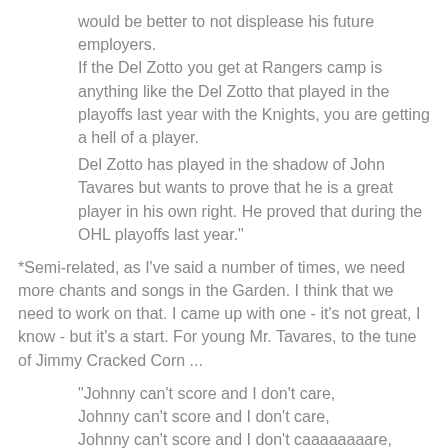would be better to not displease his future employers.
If the Del Zotto you get at Rangers camp is anything like the Del Zotto that played in the playoffs last year with the Knights, you are getting a hell of a player.
Del Zotto has played in the shadow of John Tavares but wants to prove that he is a great player in his own right. He proved that during the OHL playoffs last year."
*Semi-related, as I've said a number of times, we need more chants and songs in the Garden. I think that we need to work on that. I came up with one - it's not great, I know - but it's a start. For young Mr. Tavares, to the tune of Jimmy Cracked Corn ...
"Johnny can't score and I don't care,
Johnny can't score and I don't care,
Johnny can't score and I don't caaaaaaaare,
His team's gonna move away."